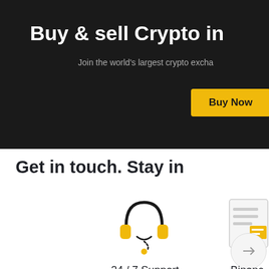[Figure (screenshot): Binance website hero banner with dark background showing 'Buy & sell Crypto in' heading, subtitle 'Join the world's largest crypto excha...', a yellow 'Buy Now' button, and a PayPal button]
Buy & sell Crypto in
Join the world’s largest crypto excha
Get in touch. Stay in
[Figure (illustration): Headphone/support icon in black outline with yellow ear cups and a smiley face below]
24 / 7 Support
Got a problem? Just get in touch. Our support team is available 24/7.
[Figure (illustration): Binance news/blog icon showing a newspaper or document with yellow highlight, partially visible on right side]
Binanc
News and updates from the leading crypto...